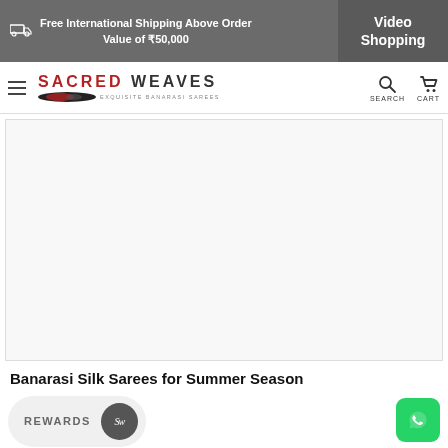Free International Shipping Above Order Value of ₹50,000 | Video Shopping
[Figure (logo): Sacred Weaves logo with text SACRED WEAVES and tagline EXQUISITE BANARASI SAREES]
[Figure (photo): Large white/blank product image area for Banarasi Silk Sarees]
Banarasi Silk Sarees for Summer Season
[Figure (other): Rewards pill button with SW circle icon and WhatsApp green button]